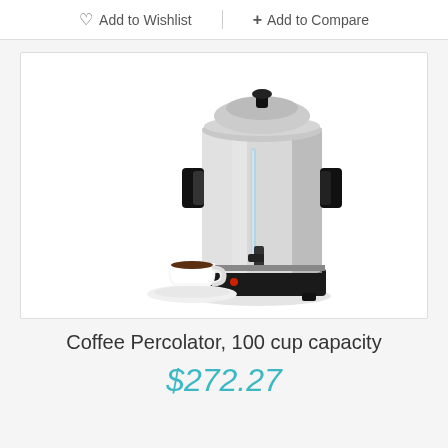Add to Wishlist  + Add to Compare
[Figure (photo): Large stainless steel commercial coffee percolator with 100 cup capacity, black base with feet, side handles, spigot, and a small white coffee cup and saucer placed in front of it.]
Coffee Percolator, 100 cup capacity
$272.27